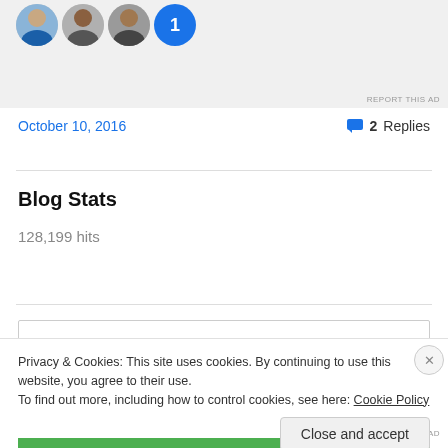[Figure (photo): Top portion of a webpage showing profile avatars in a row on a gray ad banner background, with REPORT THIS AD text at bottom right]
October 10, 2016
2 Replies
Blog Stats
128,199 hits
Privacy & Cookies: This site uses cookies. By continuing to use this website, you agree to their use.
To find out more, including how to control cookies, see here: Cookie Policy
Close and accept